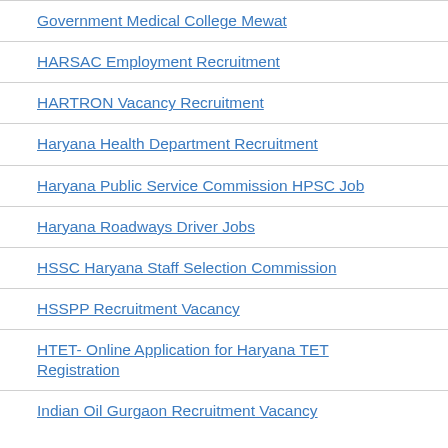Government Medical College Mewat
HARSAC Employment Recruitment
HARTRON Vacancy Recruitment
Haryana Health Department Recruitment
Haryana Public Service Commission HPSC Job
Haryana Roadways Driver Jobs
HSSC Haryana Staff Selection Commission
HSSPP Recruitment Vacancy
HTET- Online Application for Haryana TET Registration
Indian Oil Gurgaon Recruitment Vacancy